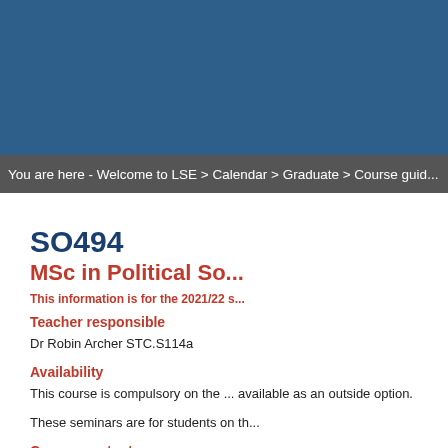[Figure (other): Blue header banner background for LSE website]
You are here - Welcome to LSE > Calendar > Graduate > Course guid...
SO494
MSc in Political So...
This information is for the 2021/22 s...
Teacher responsible
Dr Robin Archer STC.S114a
Availability
This course is compulsory on the ... available as an outside option.
These seminars are for students on th...
Course content